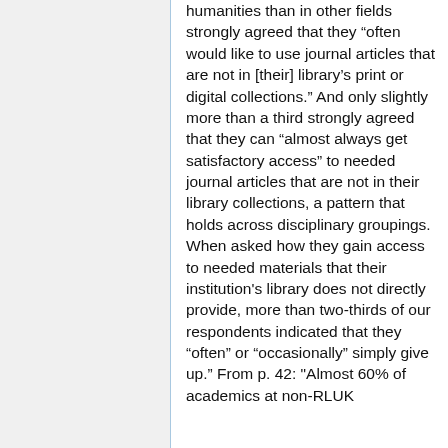humanities than in other fields strongly agreed that they “often would like to use journal articles that are not in [their] library’s print or digital collections.” And only slightly more than a third strongly agreed that they can “almost always get satisfactory access” to needed journal articles that are not in their library collections, a pattern that holds across disciplinary groupings. When asked how they gain access to needed materials that their institution's library does not directly provide, more than two-thirds of our respondents indicated that they “often” or “occasionally” simply give up.” From p. 42: "Almost 60% of academics at non-RLUK